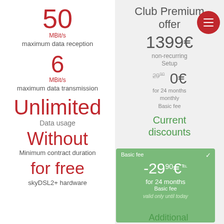50 MBit/s maximum data reception
6 MBit/s maximum data transmission
Unlimited Data usage
Without Minimum contract duration
for free skyDSL2+ hardware
Club Premium offer
1399€
non-recurring Setup
29,90 0€ for 24 months monthly Basic fee
Current discounts
Basic fee ✓ -29.90€ for 24 months Basic fee valid only until today
Additional